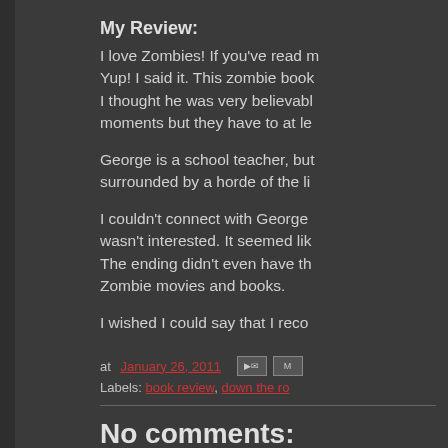My Review:
I love Zombies! If you've read m... Yup! I said it. This zombie book... I thought he was very believabl... moments but they have to at le...
George is a school teacher, but... surrounded by a horde of the li...
I couldn't connect with George... wasn't interested. It seemed lik... The ending didn't even have th... Zombie movies and books.
I wished I could say that I reco...
at January 26, 2011
Labels: book review, down the ro...
No comments:
Post a Comment